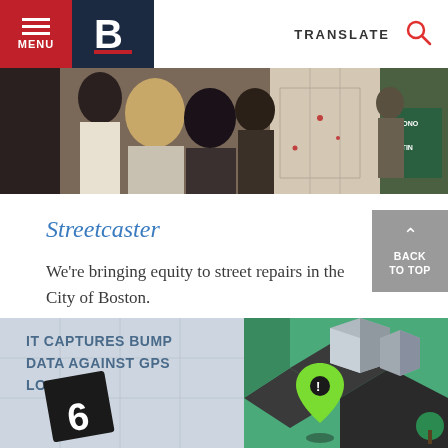MENU | B | TRANSLATE
[Figure (photo): People looking at maps and urban data displays at an event]
Streetcaster
We're bringing equity to street repairs in the City of Boston.
[Figure (infographic): Infographic showing IT captures bump data against GPS location, with isometric map illustration and location pin]